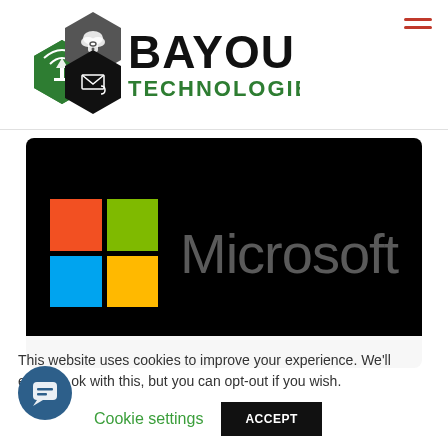[Figure (logo): Bayou Technologies logo with hexagon icons and company name]
[Figure (logo): Microsoft logo on black background with the four-color Windows grid icon and 'Microsoft' wordmark in gray]
This website uses cookies to improve your experience. We'll assume you're ok with this, but you can opt-out if you wish.
Cookie settings   ACCEPT